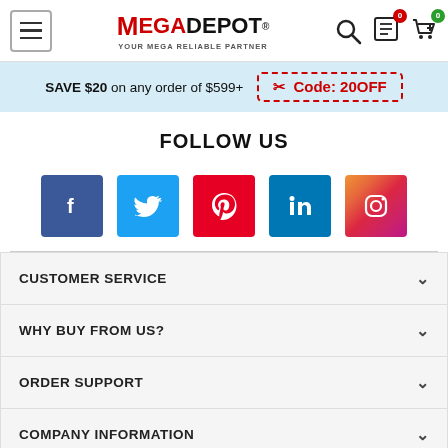MegaDepot - Your Mega Reliable Partner
SAVE $20 on any order of $599+ Code: 20OFF
FOLLOW US
[Figure (other): Social media icons: Facebook, Twitter, Pinterest, LinkedIn, Instagram]
CUSTOMER SERVICE
WHY BUY FROM US?
ORDER SUPPORT
COMPANY INFORMATION
CONTACT INFORMATION